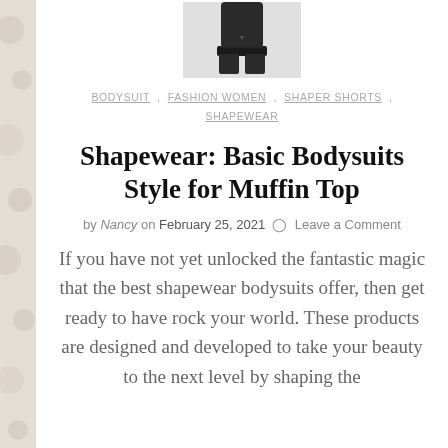[Figure (photo): Partial view of a shapewear bodysuit product on a model, showing the lower torso/thigh area in black fabric, cropped at top]
BODYSUIT , FASHION WOMEN , SHAPER SHORTS , SHAPEWEAR
Shapewear: Basic Bodysuits Style for Muffin Top
by Nancy on February 25, 2021  Leave a Comment
If you have not yet unlocked the fantastic magic that the best shapewear bodysuits offer, then get ready to have rock your world. These products are designed and developed to take your beauty to the next level by shaping the